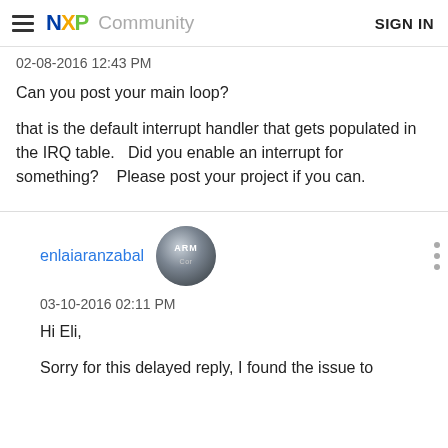NXP Community  SIGN IN
02-08-2016 12:43 PM
Can you post your main loop?
that is the default interrupt handler that gets populated in the IRQ table.   Did you enable an interrupt for something?    Please post your project if you can.
enlaiaranzabal
03-10-2016 02:11 PM
Hi Eli,
Sorry for this delayed reply, I found the issue to